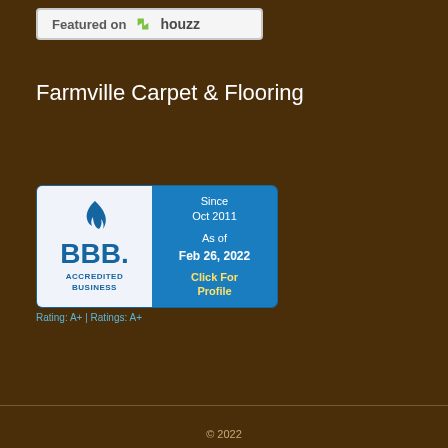[Figure (logo): Featured on Houzz badge - white/grey rectangular badge with green Houzz logo icon and text 'Featured on houzz']
Farmville Carpet & Flooring
[Figure (logo): BBB Accredited Business badge showing BBB logo on left white panel and 'Since Oct 2011, As of Feb 26, 2022, Click For Profile' on right blue panel, with rating link below]
© 2022